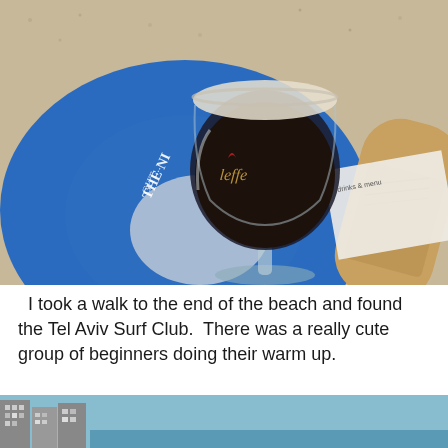[Figure (photo): A glass of dark Leffe beer on a blue circular coaster/tabletop with a wooden paddle and printed menu visible in the background, set on a sandy surface.]
I took a walk to the end of the beach and found the Tel Aviv Surf Club.  There was a really cute group of beginners doing their warm up.
[Figure (photo): Partial view of a beach scene with buildings and blue sky at the bottom of the page.]